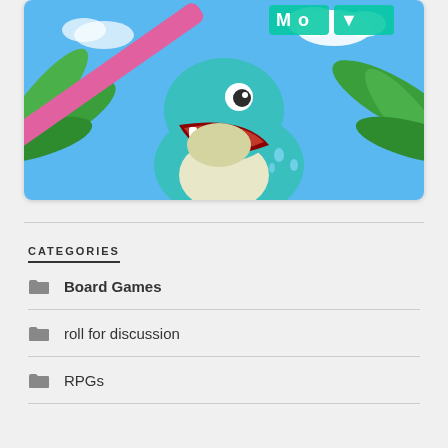[Figure (illustration): Cartoon illustration of a teal/green dinosaur or pokemon character with open mouth on a tropical background with blue sky and palm leaves. A pink diagonal element crosses the image. Colorful game-style artwork.]
CATEGORIES
Board Games
roll for discussion
RPGs